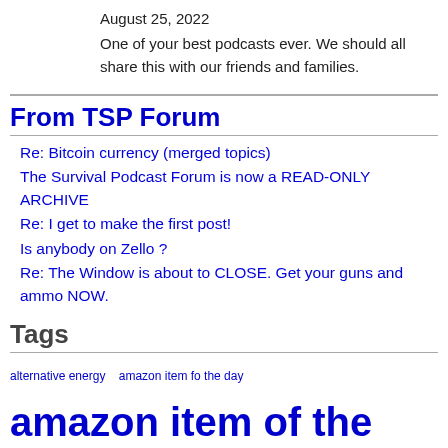August 25, 2022
One of your best podcasts ever. We should all share this with our friends and families.
From TSP Forum
Re: Bitcoin currency (merged topics)
The Survival Podcast Forum is now a READ-ONLY ARCHIVE
Re: I get to make the first post!
Is anybody on Zello ?
Re: The Window is about to CLOSE. Get your guns and ammo NOW.
Tags
alternative energy   amazon item fo the day   amazon item of the day   aquaponics   business   cooking   cooking az   cryptocurrency   debt   duck chronicles   economic collapse   economics   economy   education   electronics az   emergency planning